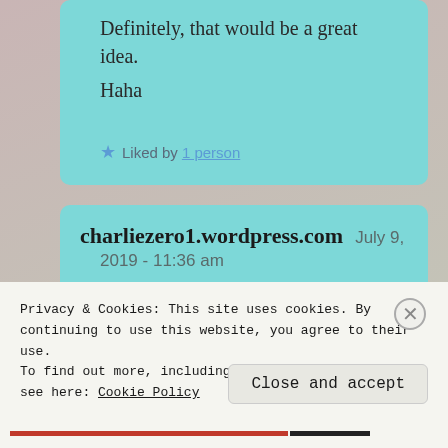Definitely, that would be a great idea.
Haha
★ Liked by 1 person
charliezero1.wordpress.com July 9, 2019 - 11:36 am
Privacy & Cookies: This site uses cookies. By continuing to use this website, you agree to their use.
To find out more, including how to control cookies, see here: Cookie Policy
Close and accept